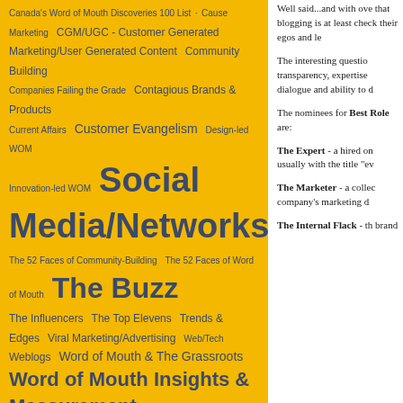Canada's Word of Mouth Discoveries 100 List · Cause Marketing · CGM/UGC - Customer Generated Marketing/User Generated Content · Community Building · Companies Failing the Grade · Contagious Brands & Products · Current Affairs · Customer Evangelism · Design-led WOM · Innovation-led WOM · Social Media/Networks · The 52 Faces of Community-Building · The 52 Faces of Word of Mouth · The Buzz · The Influencers · The Top Elevens · Trends & Edges · Viral Marketing/Advertising · Web/Tech · Weblogs · Word of Mouth & The Grassroots · Word of Mouth Insights & Measurement
ARCHIVES
September 2011
May 2011
November 2010
October 2010
August 2010
July 2010
June 2010
April 2010
Well said...and with over that blogging is at least check their egos and le
The interesting question transparency, expertise dialogue and ability to d
The nominees for Best Role are:
The Expert - a hired on usually with the title "ev
The Marketer - a collec company's marketing d
The Internal Flack - th brand